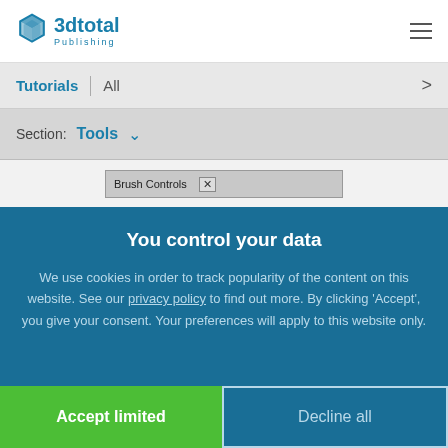3dtotal Publishing
Tutorials | All
Section: Tools
[Figure (screenshot): Brush Controls dialog box partially visible]
You control your data
We use cookies in order to track popularity of the content on this website. See our privacy policy to find out more. By clicking 'Accept', you give your consent. Your preferences will apply to this website only.
Accept limited
Decline all